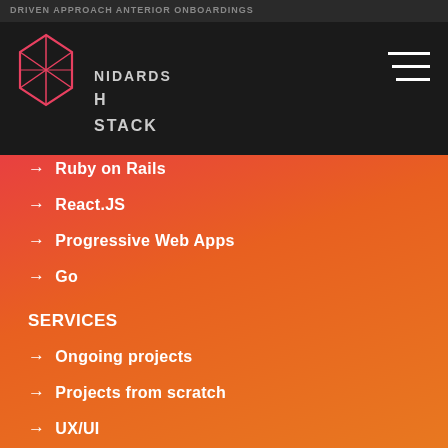DRIVEN APPROACH ANTERIOR ONBOARDINGS
[Figure (logo): Geometric diamond/crystal wireframe logo in pink/red outline on dark background, with text 'STANDARDS' and 'H STACK' beside it]
Ruby on Rails
React.JS
Progressive Web Apps
Go
SERVICES
Ongoing projects
Projects from scratch
UX/UI
OUR OFFICE
Odolańska 56
02-562 Warszawa
Poland
HIRE US